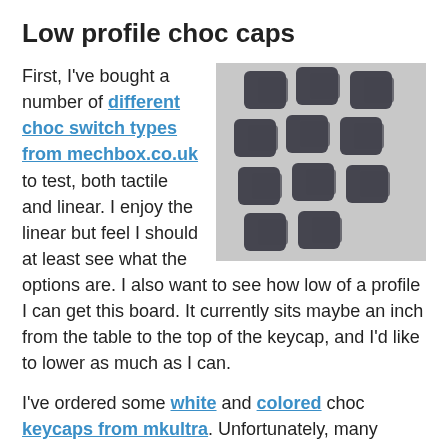Low profile choc caps
[Figure (photo): Photo of multiple dark square low-profile keycaps arranged in a loose grid pattern on a light grey surface]
First, I've bought a number of different choc switch types from mechbox.co.uk to test, both tactile and linear. I enjoy the linear but feel I should at least see what the options are. I also want to see how low of a profile I can get this board. It currently sits maybe an inch from the table to the top of the keycap, and I'd like to lower as much as I can.
I've ordered some white and colored choc keycaps from mkultra. Unfortunately, many colors were out of stock, but I was still able to get some